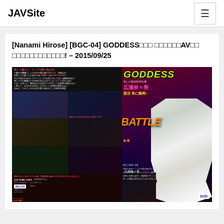JAVSite
[Nanami Hirose] [BGC-04] GODDESS□□□ □□□□□□AV□□□□□□□□□□□□□! – 2015/09/25
[Figure (photo): DVD cover image for BGC-04 GODDESS featuring Nanami Hirose, showing wrestling/fight scenes collage on left and main actress photo on right with red/dark background]